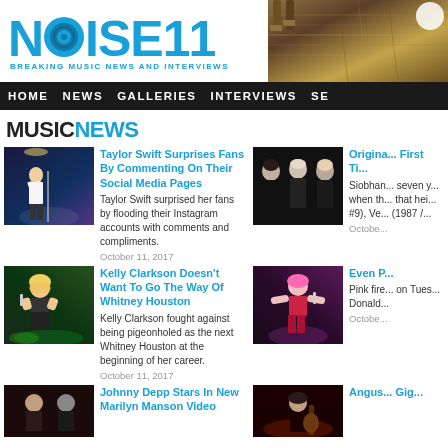[Figure (logo): Noise11 logo - blue stylized text with speaker icon, tagline: BREAKING MUSIC NEWS AND INTERVIEWS]
[Figure (photo): Header background photo showing musical instruments/guitar in golden/brown tones]
HOME NEWS GALLERIES INTERVIEWS SE
MUSIC NEWS
[Figure (photo): Taylor Swift performing on stage in white outfit]
Taylor Swift Surprises Fans By Commenting On Their Social Media Pages
Taylor Swift surprised her fans by flooding their Instagram accounts with comments and compliments.
October 11, 2017
[Figure (photo): Three women in black outfits - girl group photo]
Original... First Ti...
Siobhan... seven y... when th... that hei... #9), Ve... (1987 /...
Octobe...
[Figure (photo): Kelly Clarkson performing on stage with green lighting]
Kelly Clarkson Doesn't Want To Go The Way Of Whitney Houston
Kelly Clarkson fought against being pigeonholed as the next Whitney Houston at the beginning of her career.
October 11, 2017
[Figure (photo): Pink performing on stage in red outfit]
Even P...
Pink fire... on Tues... Donald...
Octobe...
[Figure (photo): Johnny Depp and Marilyn Manson dark photo]
Johnny Depp Stars In New Marilyn Manson Video
[Figure (photo): Angus Young performing on stage]
Angus... Gig...